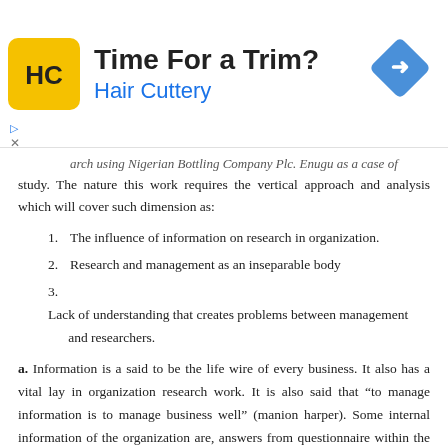[Figure (other): Hair Cuttery advertisement banner with yellow logo showing HC letters, title 'Time For a Trim?', subtitle 'Hair Cuttery', and a blue diamond navigation icon on the right]
arch using Nigerian Bottling Company Plc. Enugu as a case of study. The nature this work requires the vertical approach and analysis which will cover such dimension as:
1. The influence of information on research in organization.
2. Research and management as an inseparable body
3. Lack of understanding that creates problems between management and researchers.
a. Information is a said to be the life wire of every business. It also has a vital lay in organization research work. It is also said that “to manage information is to manage business well” (manion harper). Some internal information of the organization are, answers from questionnaire within the organizational interview of worker, past records e.t.c. External